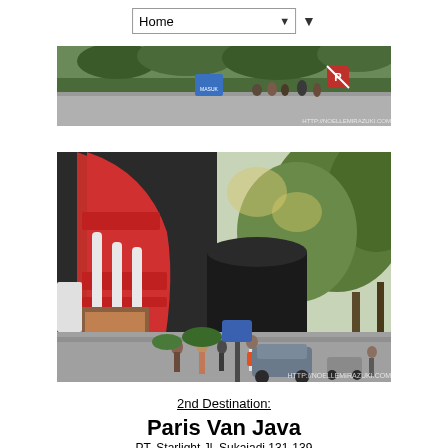[Figure (screenshot): Navigation bar with Home dropdown selector and triangle button]
[Figure (photo): Outdoor photo showing a road with a blue arrow sign reading MASUK and a no-parking sign, trees and people in background, with watermark http://noellemirazuki.com]
[Figure (photo): Outdoor photo of Paris Van Java mall exterior showing a curved red building facade with white columns, people walking, cars on road, and large trees with watermark http://noellemirazuki.com]
2nd Destination:
Paris Van Java
PT. Starlight Jl. Sukajadi 131-139